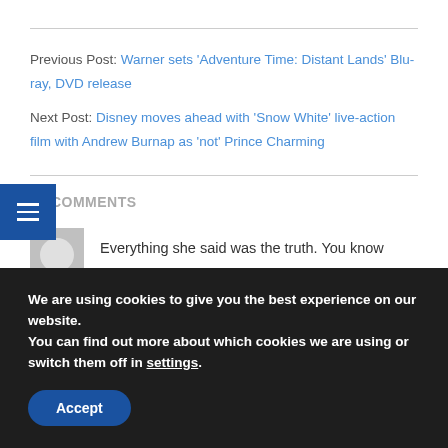Previous Post: Warner sets 'Adventure Time: Distant Lands' Blu-ray, DVD release
Next Post: Disney moves ahead with 'Snow White' live-action film with Andrew Burnap as 'not' Prince Charming
16 COMMENTS
Everything she said was the truth. You know
We are using cookies to give you the best experience on our website.
You can find out more about which cookies we are using or switch them off in settings.
Accept